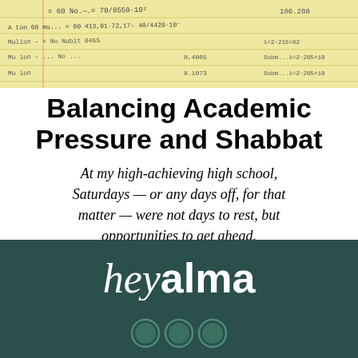[Figure (photo): A yellow/cream handwritten notebook page with mathematical or accounting calculations and handwriting in pencil/pen, showing numbers, formulas, and text entries in rows.]
Balancing Academic Pressure and Shabbat
At my high-achieving high school, Saturdays — or any days off, for that matter — were not days to rest, but opportunities to get ahead.
By Rachel Pakan
[Figure (logo): heyalma logo in white text on dark teal/green background, with 'hey' in italic serif and 'alma' in bold sans-serif.]